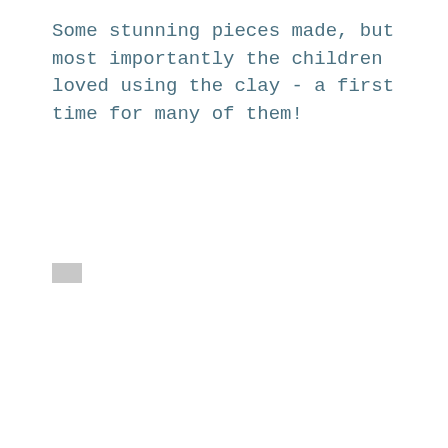Some stunning pieces made, but most importantly the children loved using the clay - a first time for many of them!
[Figure (other): Small grey rectangle placeholder image]
IMG_1760
IMG_1772
IMG_1765
IMG_1781